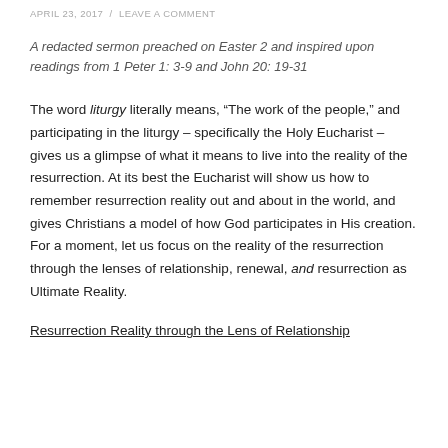APRIL 23, 2017  /  LEAVE A COMMENT
A redacted sermon preached on Easter 2 and inspired upon readings from 1 Peter 1: 3-9 and John 20: 19-31
The word liturgy literally means, “The work of the people,” and participating in the liturgy – specifically the Holy Eucharist – gives us a glimpse of what it means to live into the reality of the resurrection. At its best the Eucharist will show us how to remember resurrection reality out and about in the world, and gives Christians a model of how God participates in His creation. For a moment, let us focus on the reality of the resurrection through the lenses of relationship, renewal, and resurrection as Ultimate Reality.
Resurrection Reality through the Lens of Relationship